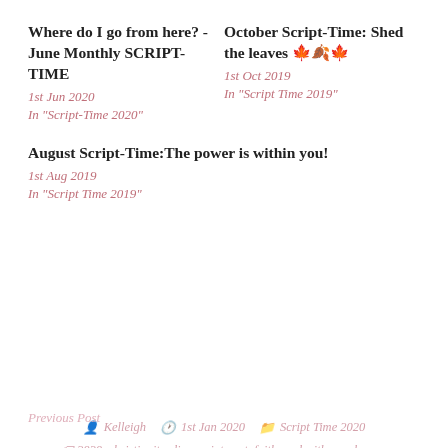Where do I go from here? - June Monthly SCRIPT-TIME
1st Jun 2020
In "Script-Time 2020"
October Script-Time: Shed the leaves 🍁🍂🍁
1st Oct 2019
In "Script Time 2019"
August Script-Time:The power is within you!
1st Aug 2019
In "Script Time 2019"
Kelleigh  1st Jan 2020  Script Time 2020
2020, christianity, disappointment, faith, god with you, happy, happy new year, hope, life, love, peace of god, prayer, safe, scripture
Previous Post